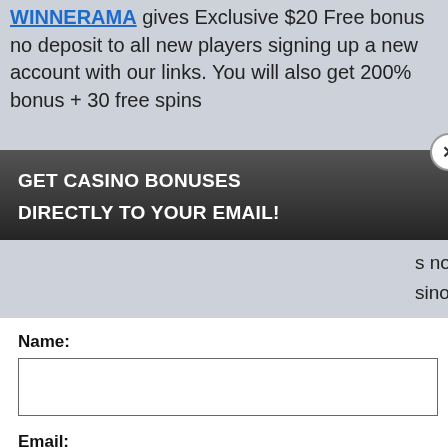WINNERAMA gives Exclusive $20 Free bonus no deposit to all new players signing up a new account with our links. You will also get 200% bonus + 30 free spins
s no deposit
sino bonus + 30 free spins
s is only valid for new players Zealand, South Africa and m with our link
[Figure (screenshot): Modal popup with dark header saying 'GET CASINO BONUSES DIRECTLY TO YOUR EMAIL!' with a close X button. White body contains Name field, Email field, Submit button, and footnote about Privacy and Cookie policy.]
berience, we use Using this site, okie & privacy policy.
ast ntry
ama